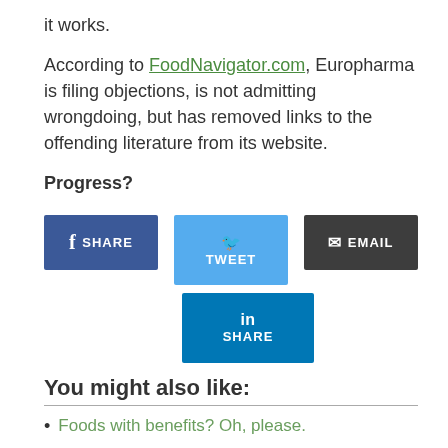it works.
According to FoodNavigator.com, Europharma is filing objections, is not admitting wrongdoing, but has removed links to the offending literature from its website.
Progress?
[Figure (infographic): Social share buttons: Facebook SHARE (dark blue), Twitter TWEET (light blue), EMAIL (dark grey), LinkedIn SHARE (medium blue)]
You might also like:
Foods with benefits? Oh, please.